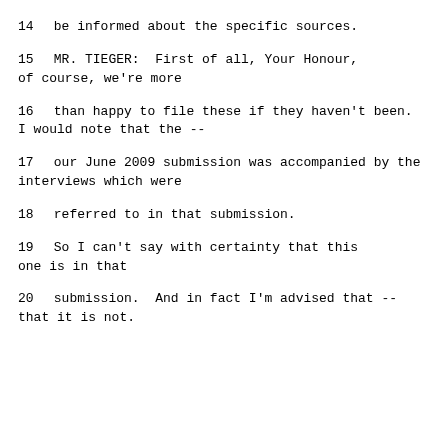14     be informed about the specific sources.
15          MR. TIEGER:  First of all, Your Honour, of course, we're more
16     than happy to file these if they haven't been. I would note that the --
17     our June 2009 submission was accompanied by the interviews which were
18     referred to in that submission.
19          So I can't say with certainty that this one is in that
20     submission.  And in fact I'm advised that -- that it is not.